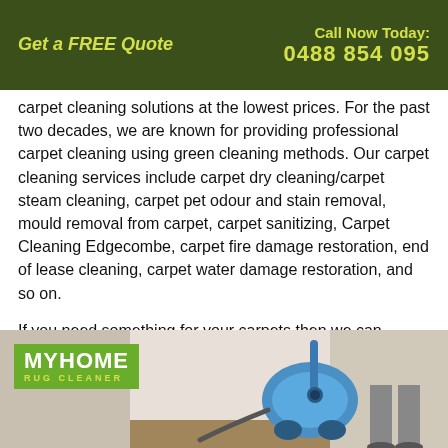Get a FREE Quote | Call Now Today: 0488 854 095
carpet cleaning solutions at the lowest prices. For the past two decades, we are known for providing professional carpet cleaning using green cleaning methods. Our carpet cleaning services include carpet dry cleaning/carpet steam cleaning, carpet pet odour and stain removal, mould removal from carpet, carpet sanitizing, Carpet Cleaning Edgecombe, carpet fire damage restoration, end of lease cleaning, carpet water damage restoration, and so on.
If you need something for your carpets then we can definitely provide you with a reliable solution!
[Figure (photo): Photo strip showing a blue vacuum cleaner and a person standing near a wall, with a MYHOME RUG CLEANER logo overlay on a green background.]